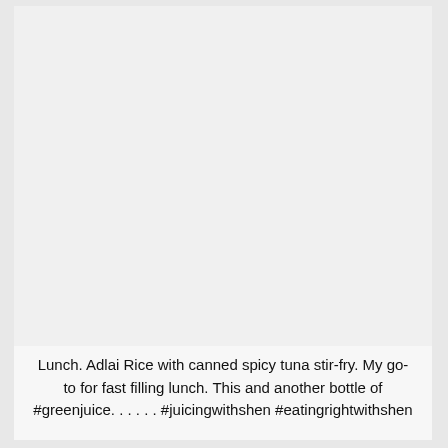[Figure (photo): Large light gray/white image placeholder area occupying the upper portion of the card.]
Lunch. Adlai Rice with canned spicy tuna stir-fry. My go-to for fast filling lunch. This and another bottle of #greenjuice. . . . . . #juicingwithshen #eatingrightwithshen